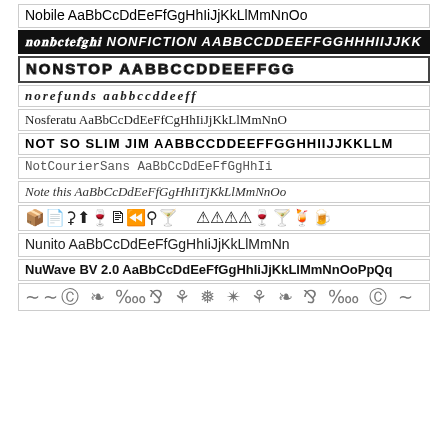Nobile AaBbCcDdEeFfGgHhIiJjKkLlMmNnOo
NONFICTION AABBCCDDEEFFGGHHHIIJJKK
NONSTOP AABBCCDDEEFFGG
norefunds aabbccddeeff
Nosferatu AaBbCcDdEeFfGgHhIiJjKkLlMmNnO
NOT SO SLIM JIM AABBCCDDEEFFGGHIIJJKKLLM
NotCourierSans AaBbCcDdEeFfGgHhIi
Note this AaBbCcDdEeFfGgHhIiTjKkLlMmNnOo
[symbols row with packaging/dingbat symbols]
Nunito AaBbCcDdEeFfGgHhIiJjKkLlMmNn
NuWave BV 2.0 AaBbCcDdEeFfGgHhIiJjKkLlMmNnOoPpQq
[ornamental/decorative flourish symbols]